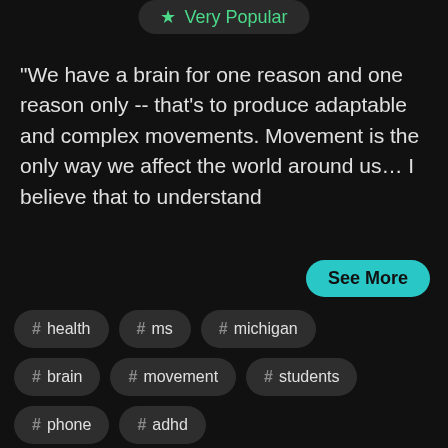[Figure (screenshot): Very Popular badge button with green star icon]
“We have a brain for one reason and one reason only -- that’s to produce adaptable and complex movements. Movement is the only way we affect the world around us… I believe that to understand
See More
# health
# ms
# michigan
# brain
# movement
# students
# phone
# adhd
# alzheimer’s disease
# athletes
# root
# best practices
# illness